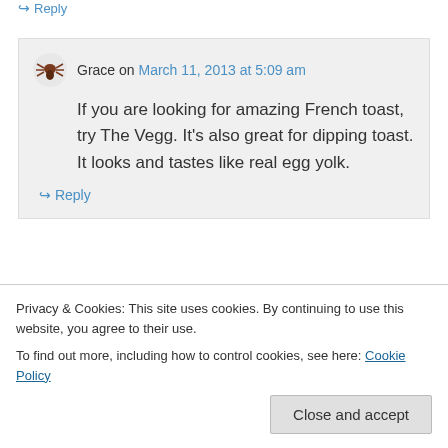↪ Reply
Grace on March 11, 2013 at 5:09 am
If you are looking for amazing French toast, try The Vegg. It's also great for dipping toast. It looks and tastes like real egg yolk.
↪ Reply
Privacy & Cookies: This site uses cookies. By continuing to use this website, you agree to their use.
To find out more, including how to control cookies, see here: Cookie Policy
Close and accept
↪ Reply